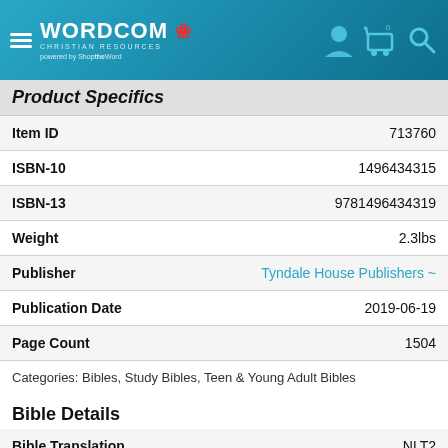Wordcom Christian Resources — powered by ShopTheWord
Product Specifics
| Field | Value |
| --- | --- |
| Item ID | 713760 |
| ISBN-10 | 1496434315 |
| ISBN-13 | 9781496434319 |
| Weight | 2.3lbs |
| Publisher | Tyndale House Publishers ~ |
| Publication Date | 2019-06-19 |
| Page Count | 1504 |
Categories: Bibles, Study Bibles, Teen & Young Adult Bibles
Bible Details
| Field | Value |
| --- | --- |
| Bible Translation | NLT2 |
| Bible Font Size | 8.5 |